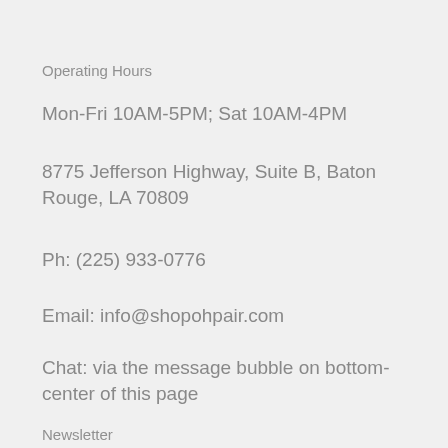Operating Hours
Mon-Fri 10AM-5PM; Sat 10AM-4PM
8775 Jefferson Highway, Suite B, Baton Rouge, LA 70809
Ph: (225) 933-0776
Email: info@shopohpair.com
Chat: via the message bubble on bottom-center of this page
Newsletter